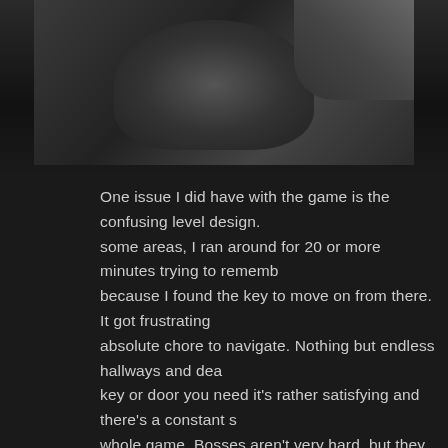[Figure (photo): Dark screenshot or photo from a game scene, showing a character in a dimly lit environment with dark background.]
One issue I did have with the game is the confusing level design. In some areas, I ran around for 20 or more minutes trying to remember because I found the key to move on from there. It got frustrating absolute chore to navigate. Nothing but endless hallways and dea key or door you need it's rather satisfying and there's a constant s whole game. Bosses aren't very hard, but they just require you to patterns and you must aim carefully.
The visuals in RE8 are pretty damn good and they look great on P minimal and not worth the halved frame rate even on my RTX 20 difference with it on or off. The lighting looks great and the text well on any system. However, as I mentioned earlier, the environm much interaction or dynamic things to look at. The game is also v quite large to explore. It's just a bunch of twisting hallways and th are some extra things you can do like shoot all the bobblehead go defeat optional mini-bosses for treasures, but most people will p sound design is amazing with some really creepy sounds both h